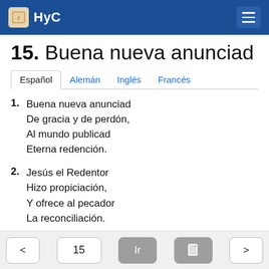HyC
15. Buena nueva anunciad
Español | Alemán | Inglés | Francés
1. Buena nueva anunciad
De gracia y de perdón,
Al mundo publicad
Eterna redención.
2. Jesús el Redentor
Hizo propiciación,
Y ofrece al pecador
La reconciliación.
< | 15 | Ir | [icon] | >